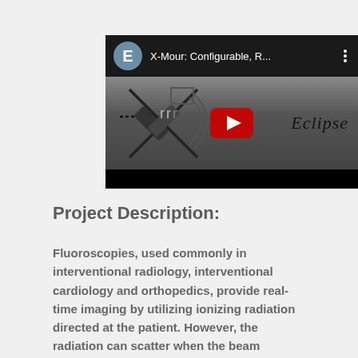[Figure (screenshot): YouTube video thumbnail showing 'X-Mour: Configurable, R...' with a gray thumbnail featuring an X-shaped instrument graphic and 'Eclipse' text in italic, with a red YouTube play button overlay. Top bar shows avatar 'E' and title text.]
Project Description:
Fluoroscopies, used commonly in interventional radiology, interventional cardiology and orthopedics, provide real-time imaging by utilizing ionizing radiation directed at the patient. However, the radiation can scatter when the beam